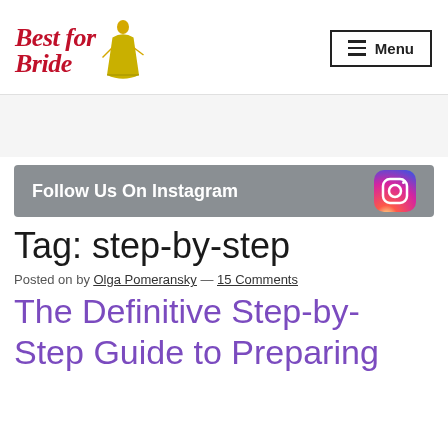[Figure (logo): Best for Bride logo with bride illustration and stylized script text]
[Figure (other): Menu button with hamburger icon]
[Figure (other): Gray advertisement placeholder area]
[Figure (other): Follow Us On Instagram banner with Instagram icon on gray background]
Tag: step-by-step
Posted on by Olga Pomeransky — 15 Comments
The Definitive Step-by-Step Guide to Preparing